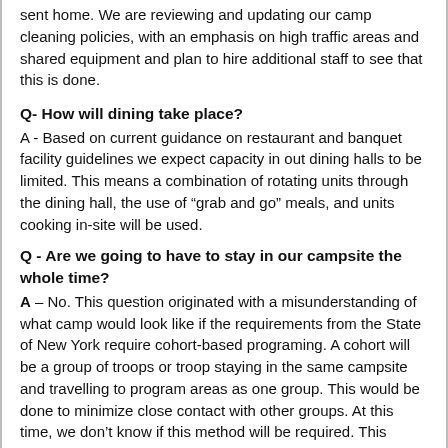sent home.  We are reviewing and updating our camp cleaning policies, with an emphasis on high traffic areas and shared equipment and plan to hire additional staff to see that this is done.
Q- How will dining take place?
A - Based on current guidance on restaurant and banquet facility guidelines we expect capacity in out dining halls to be limited.  This means a combination of rotating units through the dining hall, the use of “grab and go” meals, and units cooking in-site will be used.
Q - Are we going to have to stay in our campsite the whole time?
A – No.  This question originated with a misunderstanding of what camp would look like if the requirements from the State of New York require cohort-based programing.  A cohort will be a group of troops or troop staying in the same campsite and travelling to program areas as one group.  This would be done to minimize close contact with other groups.  At this time, we don’t know if this method will be required.  This method was successfully used in states where camping was allowed in 2021.